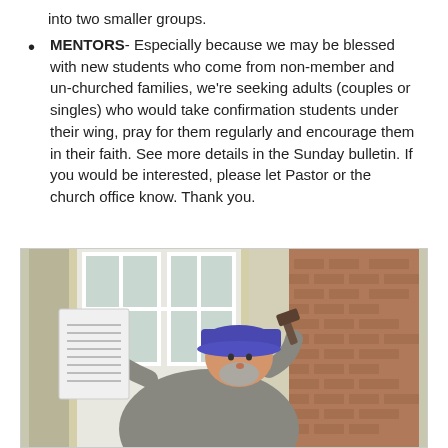into two smaller groups.
MENTORS- Especially because we may be blessed with new students who come from non-member and un-churched families, we're seeking adults (couples or singles) who would take confirmation students under their wing, pray for them regularly and encourage them in their faith. See more details in the Sunday bulletin. If you would be interested, please let Pastor or the church office know. Thank you.
[Figure (photo): A person wearing a blue cap and grey jacket holds a document in one hand and a hammer in the other hand, appearing to nail the document to a door or wall. A brick building and windows are visible in the background.]